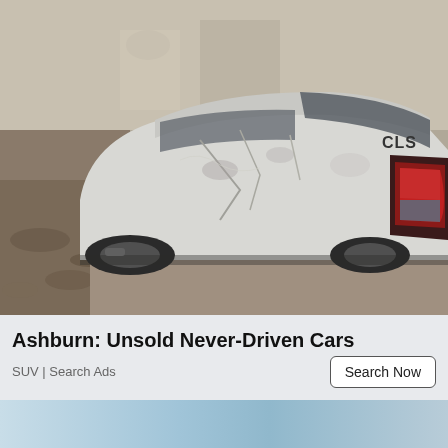[Figure (photo): A damaged silver/white Mercedes-Benz CLS sedan with body damage and mud/dirt on the panels, photographed from the rear quarter angle. The tail light and 'CLS' badge are visible. The car is parked in a muddy or dirt area.]
Ashburn: Unsold Never-Driven Cars
SUV | Search Ads
[Figure (photo): Partial bottom strip showing a light blue/cyan image strip, partially cut off at the bottom of the page.]